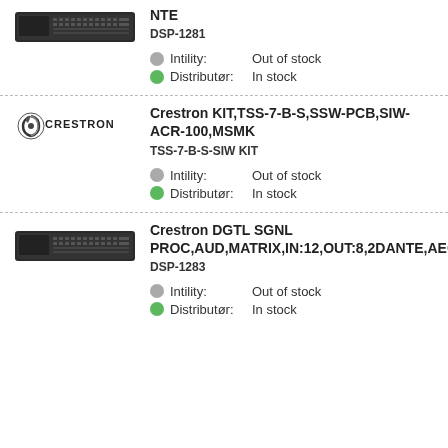[Figure (photo): Rack-mount audio DSP device, dark gray, front view]
NTE
DSP-1281
Intility: Out of stock
Distributør: In stock
[Figure (logo): Crestron logo]
Crestron KIT,TSS-7-B-S,SSW-PCB,SIW-ACR-100,MSMK
TSS-7-B-S-SIW KIT
Intility: Out of stock
Distributør: In stock
[Figure (photo): Rack-mount audio matrix processor, dark gray, front view]
Crestron DGTL SGNL PROC,AUD,MATRIX,IN:12,OUT:8,2DANTE,AEC
DSP-1283
Intility: Out of stock
Distributør: In stock